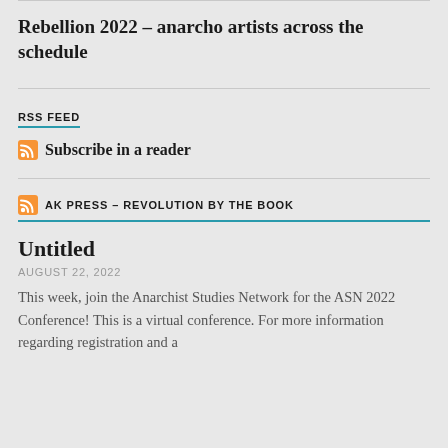Rebellion 2022 – anarcho artists across the schedule
RSS FEED
Subscribe in a reader
AK PRESS – REVOLUTION BY THE BOOK
Untitled
AUGUST 22, 2022
This week, join the Anarchist Studies Network for the ASN 2022 Conference! This is a virtual conference. For more information regarding registration and a